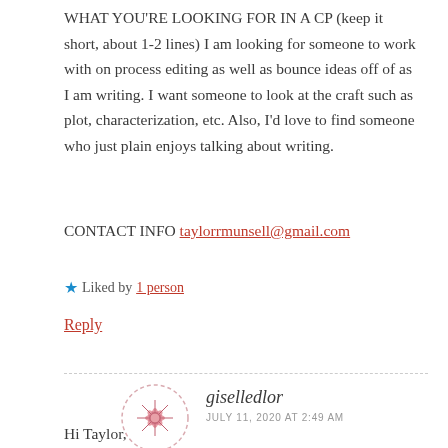WHAT YOU'RE LOOKING FOR IN A CP (keep it short, about 1-2 lines) I am looking for someone to work with on process editing as well as bounce ideas off of as I am writing. I want someone to look at the craft such as plot, characterization, etc. Also, I'd love to find someone who just plain enjoys talking about writing.
CONTACT INFO taylorrmunsell@gmail.com
★ Liked by 1 person
Reply
giselledlor
JULY 11, 2020 AT 2:49 AM
Hi Taylor,